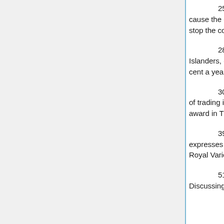25. “The problem with London is the tourists. They cause the congestion. If we could just stop the tourism, we could stop the congestion.” At the opening of City Hall in 2002.
28. “You must be out of your minds.” To Solomon Islanders, on being told that their population growth was 5 per cent a year, in 1982.
30. “Your country is one of the most notorious centres of trading in endangered species.” Accepting a conservation award in Thailand in 1991.
39. “I wish he’d turn the microphone off!” The Prince expresses his opinion of Elton John’s performance at the 73rd Royal Variety Show, 2001.
51. “Any bloody fool can lay a wreath at the thingamy.” Discussing his